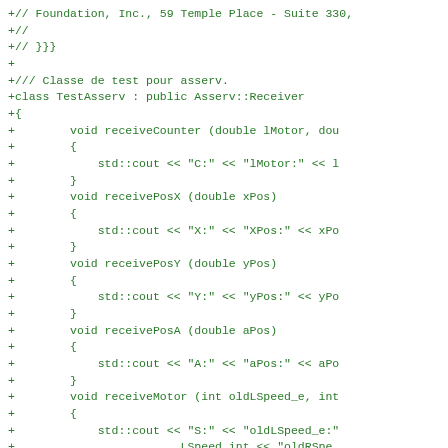Code diff showing C++ class TestAsserv with receive methods